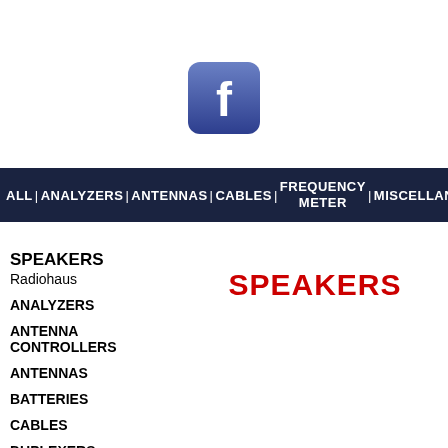[Figure (logo): Facebook logo icon — rounded square with blue gradient background and white 'f' letter]
ALL | ANALYZERS | ANTENNAS | CABLES | FREQUENCY METER | MISCELLANEOUS
SPEAKERS
Radiohaus
SPEAKERS
ANALYZERS
ANTENNA CONTROLLERS
ANTENNAS
BATTERIES
CABLES
DUPLEXERS
DUST COVERS